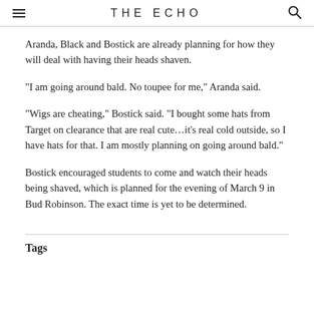THE ECHO
Aranda, Black and Bostick are already planning for how they will deal with having their heads shaven.
"I am going around bald. No toupee for me," Aranda said.
"Wigs are cheating," Bostick said. "I bought some hats from Target on clearance that are real cute…it's real cold outside, so I have hats for that. I am mostly planning on going around bald."
Bostick encouraged students to come and watch their heads being shaved, which is planned for the evening of March 9 in Bud Robinson. The exact time is yet to be determined.
Tags